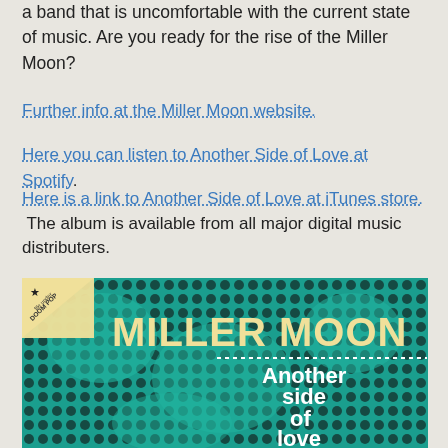a band that is uncomfortable with the current state of music. Are you ready for the rise of the Miller Moon?
Further info at the Miller Moon website.
Here you can listen to Another Side of Love at Spotify.
Here is a link to Another Side of Love at iTunes store. The album is available from all major digital music distributers.
[Figure (illustration): Album cover for Miller Moon – Another Side of Love. Teal and black halftone pattern background with 'MILLER MOON' in large yellow text at top and 'Another side of love' in white text at right. Small star and 'file under DOOM POP' label in top left corner.]